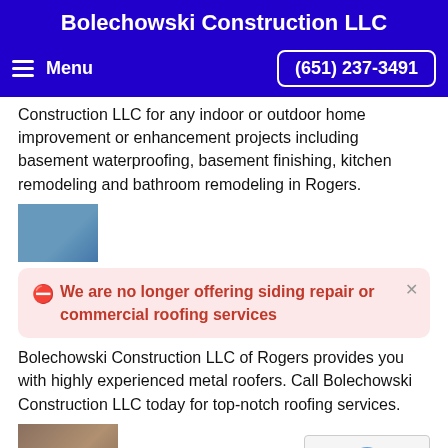Bolechowski Construction LLC
Menu  (651) 237-3491
Construction LLC for any indoor or outdoor home improvement or enhancement projects including basement waterproofing, basement finishing, kitchen remodeling and bathroom remodeling in Rogers.
[Figure (photo): Small thumbnail photo, partially visible, showing a person outdoors]
We are no longer offering siding repair or commercial roofing services
Bolechowski Construction LLC of Rogers provides you with highly experienced metal roofers. Call Bolechowski Construction LLC today for top-notch roofing services.
[Figure (photo): Small thumbnail photo of roofing shingles]
Rogers Shingle Roofs
Bolechowski Construction LLC will provide you with top